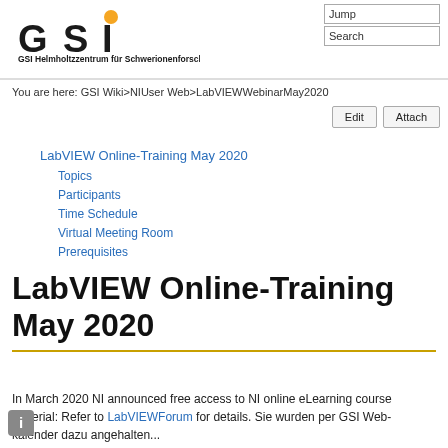[Figure (logo): GSI Helmholtzzentrum für Schwerionenforschung GmbH logo with orange dot above letter I]
Jump
Search
You are here: GSI Wiki>NIUser Web>LabVIEWWebinarMay2020
LabVIEW Online-Training May 2020
Topics
Participants
Time Schedule
Virtual Meeting Room
Prerequisites
LabVIEW Online-Training May 2020
In March 2020 NI announced free access to NI online eLearning course material: Refer to LabVIEWForum for details. Sie wurden per GSI Web-kalender dazu angehalten...